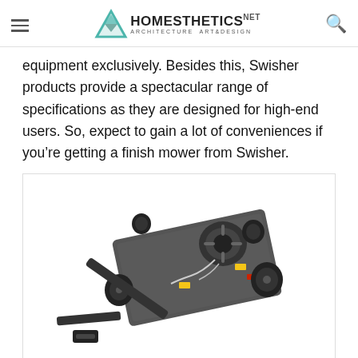Homesthetics - Architecture Art & Design
equipment exclusively. Besides this, Swisher products provide a spectacular range of specifications as they are designed for high-end users. So, expect to gain a lot of conveniences if you're getting a finish mower from Swisher.
[Figure (photo): A Swisher finish mower shown from above at an angle, with a grey deck, engine on top, two rear wheels, two front wheels, and a tow hitch arm extending forward.]